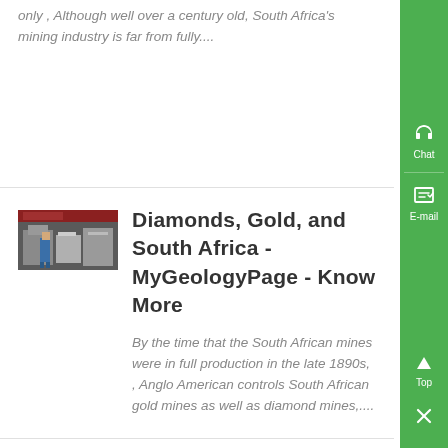only , Although well over a century old, South Africa's mining industry is far from fully....
[Figure (photo): Worker in blue overalls operating industrial mining machinery inside a facility]
Diamonds, Gold, and South Africa - MyGeologyPage - Know More
By the time that the South African mines were in full production in the late 1890s, , Anglo American controls South African gold mines as well as diamond mines,...
Diamond Mining in